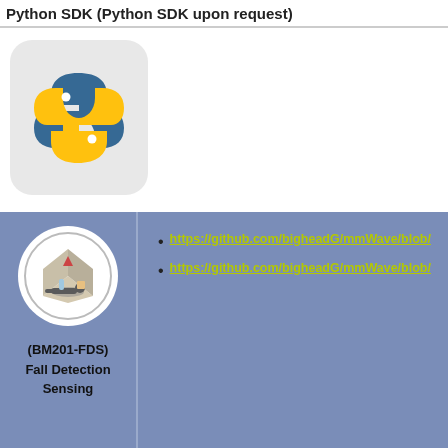Python SDK (Python SDK upon request)
[Figure (logo): Python programming language logo — blue and yellow snake emblem on light gray rounded rectangle background]
[Figure (logo): BM201-FDS Fall Detection Sensing device icon — circular icon showing a person fallen on the ground inside a circular border]
https://github.com/bigheadG/mmWave/blob/
https://github.com/bigheadG/mmWave/blob/
(BM201-FDS)
Fall Detection
Sensing